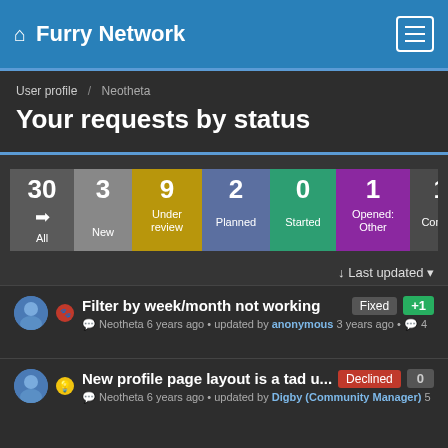Furry Network
User profile / Neotheta
Your requests by status
[Figure (infographic): Status tile bar showing request counts: All 30, New 3, Under review 9, Planned 2, Started 0, Opened: Other 1, Completed 14, Declined (partially visible)]
↓= Last updated ▾
Filter by week/month not working   Fixed  +1
Neotheta 6 years ago • updated by anonymous 3 years ago • 💬 4
New profile page layout is a tad u...   Declined  0
Neotheta 6 years ago • updated by Digby (Community Manager) 5